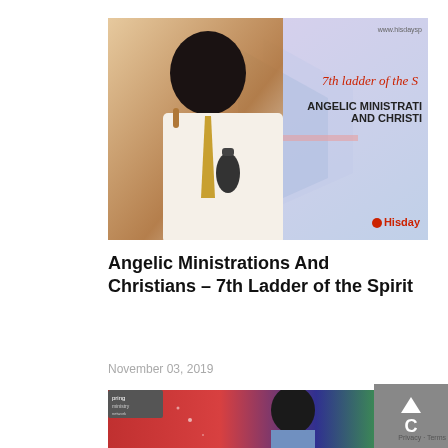[Figure (photo): A man in a white suit holding a microphone at a church or ministry event. Background shows a banner with text '7th ladder of the Spirit', 'ANGELIC MINISTRATIONS AND CHRISTIANS', and the Hisday logo. Website URL visible: www.hisdaysp...]
Angelic Ministrations And Christians – 7th Ladder of the Spirit
November 03, 2019
[Figure (photo): Partial view of a TV studio or broadcast set with red and blue backgrounds, a person in a grey suit visible, and a small logo badge on the left reading 'Spring' or similar ministry name.]